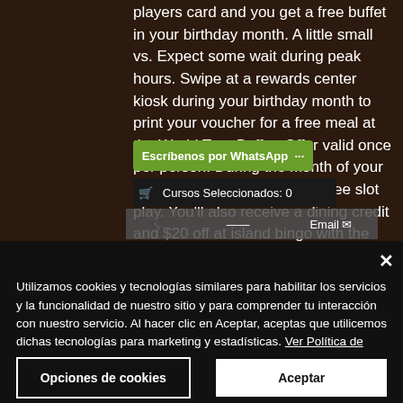players card and you get a free buffet in your birthday month. A little small vs. Expect some wait during peak hours. Swipe at a rewards center kiosk during your birthday month to print your voucher for a free meal at the World Tour Buffet. Offer valid once per person. During the month of your birthday win up to $1,000 in free slot play. You'll also receive a dining credit and $20 off at island bingo with the purchase of a. Sign up for caesars rewards &amp; get $25 in rewards! get your free slot play in 4 easy steps. Visit
Utilizamos cookies y tecnologías similares para habilitar los servicios y la funcionalidad de nuestro sitio y para comprender tu interacción con nuestro servicio. Al hacer clic en Aceptar, aceptas que utilicemos dichas tecnologías para marketing y estadísticas. Ver Política de Privacidad
Opciones de cookies
Aceptar